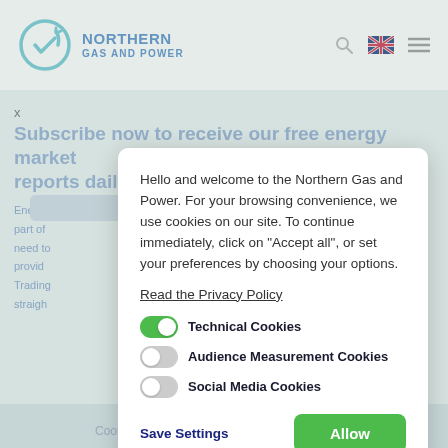[Figure (screenshot): Northern Gas and Power website header with logo, search icon, flag icon, and hamburger menu]
x
Subscribe now to receive our free energy market reports daily.
Hello and welcome to the Northern Gas and Power. For your browsing convenience, we use cookies on our site. To continue immediately, click on "Accept all", or set your preferences by choosing your options.
Read the Privacy Policy
Technical Cookies
Audience Measurement Cookies
Social Media Cookies
Save Settings
Allow